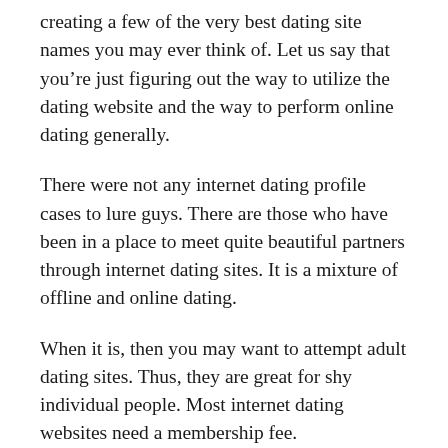creating a few of the very best dating site names you may ever think of. Let us say that you're just figuring out the way to utilize the dating website and the way to perform online dating generally.
There were not any internet dating profile cases to lure guys. There are those who have been in a place to meet quite beautiful partners through internet dating sites. It is a mixture of offline and online dating.
When it is, then you may want to attempt adult dating sites. Thus, they are great for shy individual people. Most internet dating websites need a membership fee.
Internet dating communication is quite great time saver since the clinic is instant and simple to manage. Online activity is able to move as slow or fast as you would like. Internet dating provides chances we don't have from